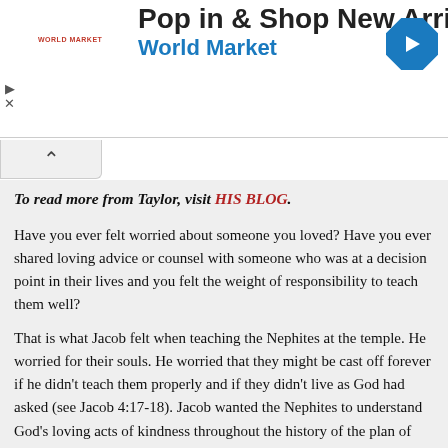[Figure (screenshot): Advertisement banner for World Market: 'Pop in & Shop New Arrivals / World Market' with logo and blue direction sign icon, with ad controls (play/close)]
To read more from Taylor, visit HIS BLOG.
Have you ever felt worried about someone you loved? Have you ever shared loving advice or counsel with someone who was at a decision point in their lives and you felt the weight of responsibility to teach them well?
That is what Jacob felt when teaching the Nephites at the temple. He worried for their souls. He worried that they might be cast off forever if he didn't teach them properly and if they didn't live as God had asked (see Jacob 4:17-18). Jacob wanted the Nephites to understand God's loving acts of kindness throughout the history of the plan of